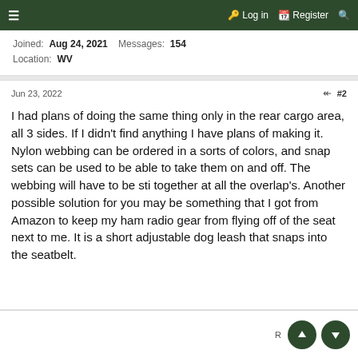≡   Log in   Register   🔍
Joined:  Aug 24, 2021   Messages:  154
Location:  WV
Jun 23, 2022   ⟨ share ⟩  #2
I had plans of doing the same thing only in the rear cargo area, all 3 sides. If I didn't find anything I have plans of making it. Nylon webbing can be ordered in a sorts of colors, and snap sets can be used to be able to take them on and off. The webbing will have to be sti together at all the overlap's. Another possible solution for you may be something that I got from Amazon to keep my ham radio gear from flying off of the seat next to me. It is a short adjustable dog leash that snaps into the seatbelt.